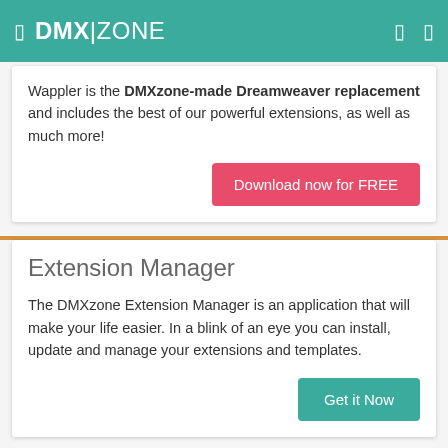DMX|ZONE
Wappler is the DMXzone-made Dreamweaver replacement and includes the best of our powerful extensions, as well as much more!
Download now for FREE
Extension Manager
The DMXzone Extension Manager is an application that will make your life easier. In a blink of an eye you can install, update and manage your extensions and templates.
Get it Now
Latest Wappler News